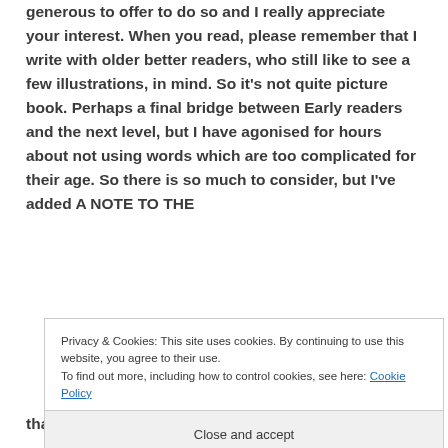generous to offer to do so and I really appreciate your interest. When you read, please remember that I write with older better readers, who still like to see a few illustrations, in mind. So it's not quite picture book. Perhaps a final bridge between Early readers and the next level, but I have agonised for hours about not using words which are too complicated for their age. So there is so much to consider, but I've added A NOTE TO THE
Privacy & Cookies: This site uses cookies. By continuing to use this website, you agree to their use. To find out more, including how to control cookies, see here: Cookie Policy
Close and accept
that made the book a bit advanced for